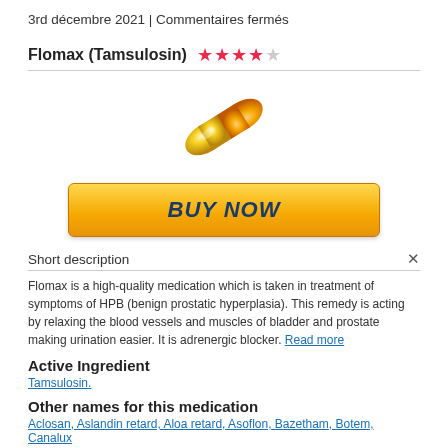3rd décembre 2021 | Commentaires fermés
Flomax (Tamsulosin) ★★★★☆
[Figure (illustration): A yellow and orange medical capsule pill, depicted at an angle against a white background.]
[Figure (illustration): A yellow BUY NOW button with bold dark blue italic text.]
Short description
Flomax is a high-quality medication which is taken in treatment of symptoms of HPB (benign prostatic hyperplasia). This remedy is acting by relaxing the blood vessels and muscles of bladder and prostate making urination easier. It is adrenergic blocker. Read more
Active Ingredient
Tamsulosin.
Other names for this medication
Aclosan, Aslandin retard, Aloa retard, Asoflon, Bazetham, Botem, Canalux